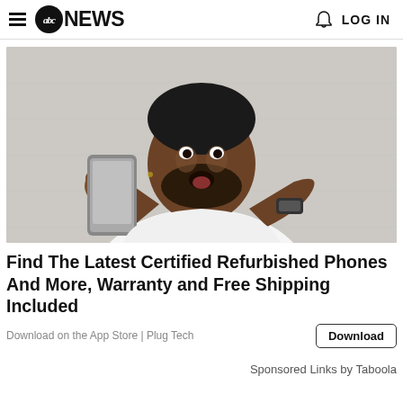abc NEWS   LOG IN
[Figure (photo): Man with surprised expression looking at a smartphone, wearing a white t-shirt and bracelet, against a light grey concrete background. Advertisement photo for Plug Tech refurbished phones.]
Find The Latest Certified Refurbished Phones And More, Warranty and Free Shipping Included
Download on the App Store | Plug Tech
Sponsored Links by Taboola